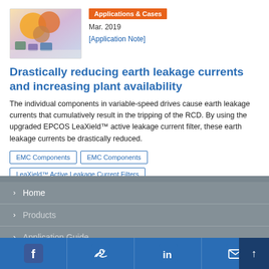[Figure (photo): Photo of colorful electronic components or food items on a white surface]
Applications & Cases
Mar. 2019
[Application Note]
Drastically reducing earth leakage currents and increasing plant availability
The individual components in variable-speed drives cause earth leakage currents that cumulatively result in the tripping of the RCD. By using the upgraded EPCOS LeaXield™ active leakage current filter, these earth leakage currents be drastically reduced.
EMC Components
EMC Components
LeaXield™ Active Leakage Current Filters
Home | Products | Application Guide